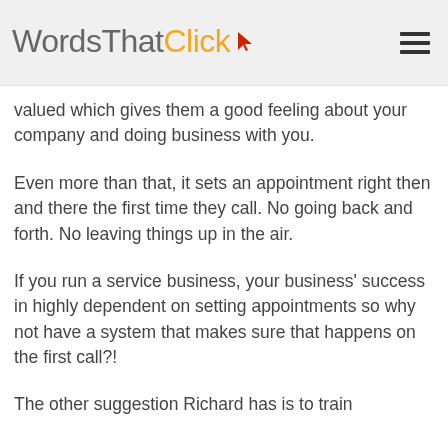WordsThatClick
valued which gives them a good feeling about your company and doing business with you.
Even more than that, it sets an appointment right then and there the first time they call. No going back and forth. No leaving things up in the air.
If you run a service business, your business' success in highly dependent on setting appointments so why not have a system that makes sure that happens on the first call?!
The other suggestion Richard has is to train